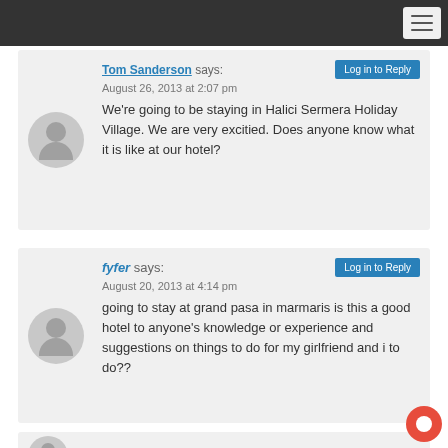Tom Sanderson says: August 26, 2013 at 2:07 pm
We're going to be staying in Halici Sermera Holiday Village. We are very excitied. Does anyone know what it is like at our hotel?
fyfer says: August 20, 2013 at 4:14 pm
going to stay at grand pasa in marmaris is this a good hotel to anyone's knowledge or experience and suggestions on things to do for my girlfriend and i to do??
| says: